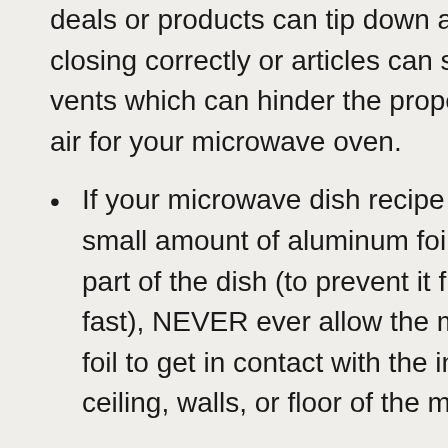deals or products can tip down and bar the door from closing correctly or articles can slip down and obstruct air vents which can hinder the proper circulation of heat and air for your microwave oven.
If your microwave dish recipe suggests a small amount of aluminum foil to cover part of the dish (to prevent it from cooking too fast), NEVER ever allow the metal or aluminum foil to get in contact with the inside ceiling, walls, or floor of the microwave.
Nowadays, just like a Refrigerator, an air conditioner or a TV set, microwaves are found in every home. It is almost an integral part of daily habit during preparing or cooking food, using electronic tools instantly without prior knowledge about the product. Even wh...